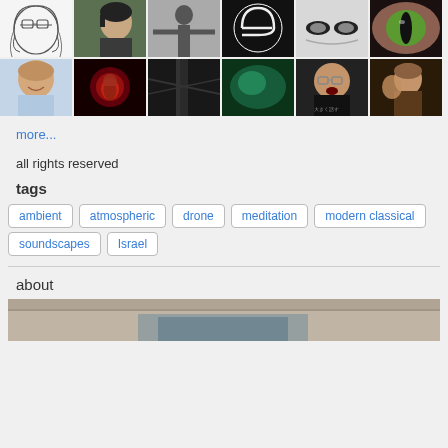[Figure (photo): Grid of 12 small avatar/profile photos in two rows of 6]
more...
all rights reserved
tags
ambient
atmospheric
drone
meditation
modern classical
soundscapes
Israel
about
[Figure (photo): Partial photo showing a surface, partially cut off at bottom of page]